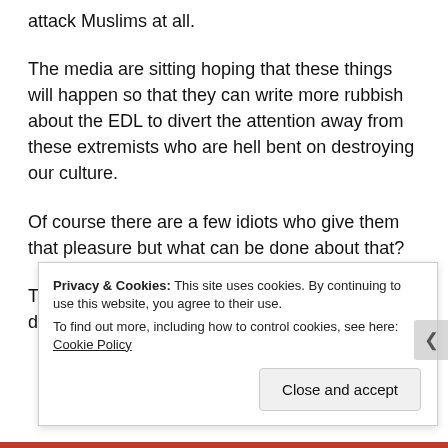attack Muslims at all.
The media are sitting hoping that these things will happen so that they can write more rubbish about the EDL to divert the attention away from these extremists who are hell bent on destroying our culture.
Of course there are a few idiots who give them that pleasure but what can be done about that?
There only seems to be a problem when the EDL demonstrate...
Privacy & Cookies: This site uses cookies. By continuing to use this website, you agree to their use. To find out more, including how to control cookies, see here: Cookie Policy
Close and accept